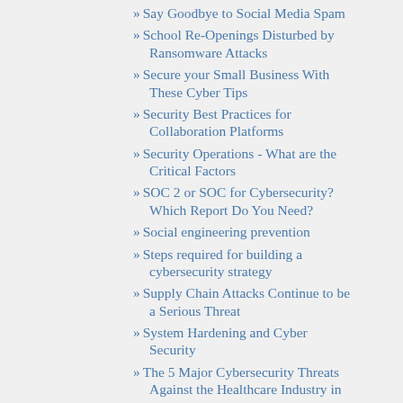Say Goodbye to Social Media Spam
School Re-Openings Disturbed by Ransomware Attacks
Secure your Small Business With These Cyber Tips
Security Best Practices for Collaboration Platforms
Security Operations - What are the Critical Factors
SOC 2 or SOC for Cybersecurity? Which Report Do You Need?
Social engineering prevention
Steps required for building a cybersecurity strategy
Supply Chain Attacks Continue to be a Serious Threat
System Hardening and Cyber Security
The 5 Major Cybersecurity Threats Against the Healthcare Industry in